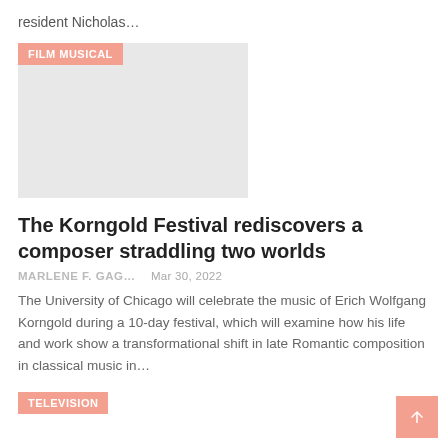resident Nicholas…
[Figure (photo): Placeholder image with FILM MUSICAL badge overlay]
The Korngold Festival rediscovers a composer straddling two worlds
MARLENE F. GAG…   Mar 30, 2022
The University of Chicago will celebrate the music of Erich Wolfgang Korngold during a 10-day festival, which will examine how his life and work show a transformational shift in late Romantic composition in classical music in…
TELEVISION